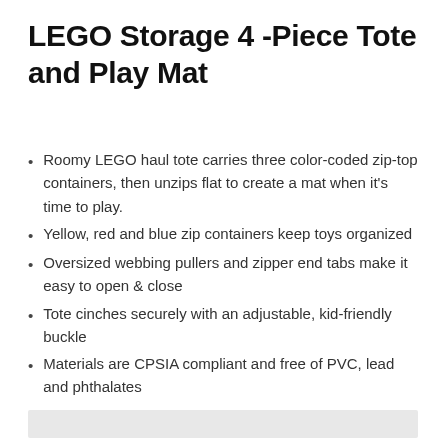LEGO Storage 4 -Piece Tote and Play Mat
Roomy LEGO haul tote carries three color-coded zip-top containers, then unzips flat to create a mat when it's time to play.
Yellow, red and blue zip containers keep toys organized
Oversized webbing pullers and zipper end tabs make it easy to open & close
Tote cinches securely with an adjustable, kid-friendly buckle
Materials are CPSIA compliant and free of PVC, lead and phthalates